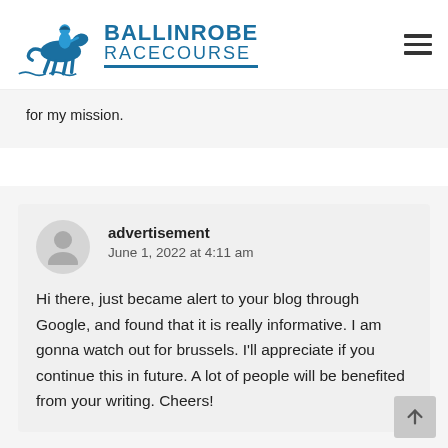BALLINROBE RACECOURSE
for my mission.
advertisement
June 1, 2022 at 4:11 am

Hi there, just became alert to your blog through Google, and found that it is really informative. I am gonna watch out for brussels. I'll appreciate if you continue this in future. A lot of people will be benefited from your writing. Cheers!